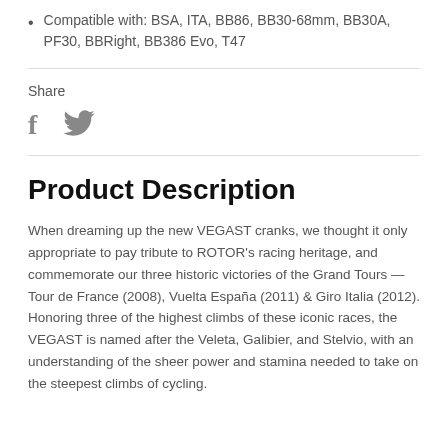Compatible with: BSA, ITA, BB86, BB30-68mm, BB30A, PF30, BBRight, BB386 Evo, T47
Share
[Figure (other): Social sharing icons: Facebook (f) and Twitter (bird) icons in gray]
Product Description
When dreaming up the new VEGAST cranks, we thought it only appropriate to pay tribute to ROTOR's racing heritage, and commemorate our three historic victories of the Grand Tours — Tour de France (2008), Vuelta España (2011) & Giro Italia (2012). Honoring three of the highest climbs of these iconic races, the VEGAST is named after the Veleta, Galibier, and Stelvio, with an understanding of the sheer power and stamina needed to take on the steepest climbs of cycling.